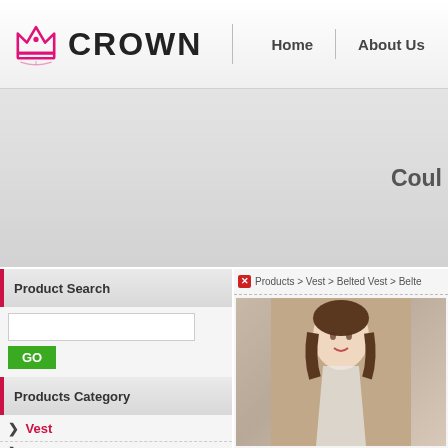CROWN — Home | About Us
[Figure (screenshot): Gray banner area with partial text 'Coul']
Product Search
Products Category
> Vest
> Belted Vest
Products > Vest > Belted Vest > Belte
[Figure (photo): Young woman in white dress, product photo]